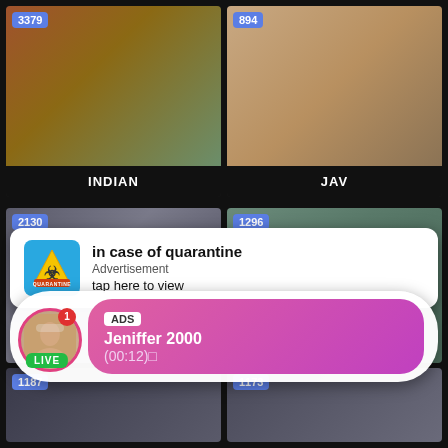[Figure (screenshot): Video thumbnail grid showing adult content categories. Top row: 'INDIAN' (count 3379) and 'JAV' (count 894). Middle row: thumbnails with counts 2130 and 1296, overlaid with advertisement popup 'in case of quarantine' and live chat notification 'Jeniffer 2000 (00:12)'. Bottom row: thumbnails with counts 1187 and 1173.]